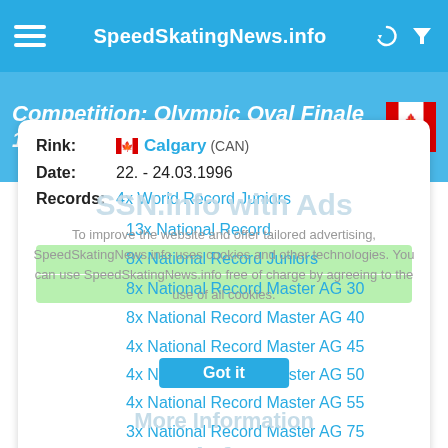SpeedSkatingNews.info
Competition: Olympic Oval Finale 1996
Rink: Calgary (CAN)
Date: 22. - 24.03.1996
Records: 4x World Record Juniors
13x National Record
8x National Record Juniors
8x National Record Master AG 30
8x National Record Master AG 40
4x National Record Master AG 45
4x National Record Master AG 50
4x National Record Master AG 55
3x National Record Master AG 75
2x National Record Master AG 80
25x Track Record
4x Track Record Juniors